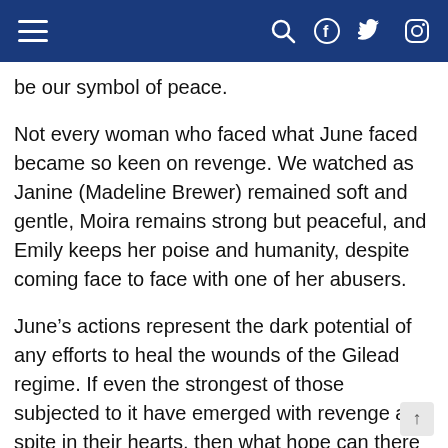[Navigation bar with hamburger menu, search, Facebook, Twitter, Instagram icons]
be our symbol of peace.
Not every woman who faced what June faced became so keen on revenge. We watched as Janine (Madeline Brewer) remained soft and gentle, Moira remains strong but peaceful, and Emily keeps her poise and humanity, despite coming face to face with one of her abusers.
June’s actions represent the dark potential of any efforts to heal the wounds of the Gilead regime. If even the strongest of those subjected to it have emerged with revenge and spite in their hearts, then what hope can there be for a functional